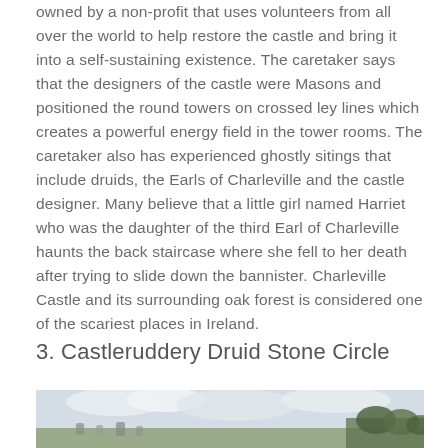owned by a non-profit that uses volunteers from all over the world to help restore the castle and bring it into a self-sustaining existence. The caretaker says that the designers of the castle were Masons and positioned the round towers on crossed ley lines which creates a powerful energy field in the tower rooms. The caretaker also has experienced ghostly sitings that include druids, the Earls of Charleville and the castle designer. Many believe that a little girl named Harriet who was the daughter of the third Earl of Charleville haunts the back staircase where she fell to her death after trying to slide down the bannister. Charleville Castle and its surrounding oak forest is considered one of the scariest places in Ireland.
3. Castleruddery Druid Stone Circle
[Figure (photo): Photograph of Castleruddery Druid Stone Circle showing stones in a landscape with cloudy sky and trees in background]